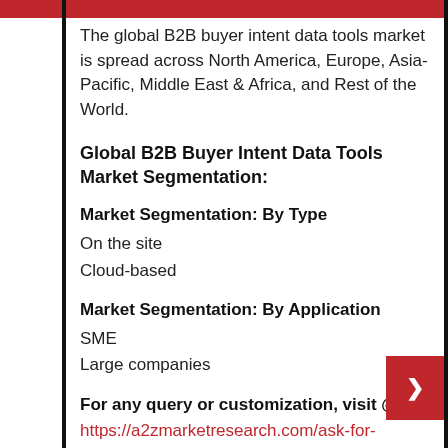The global B2B buyer intent data tools market is spread across North America, Europe, Asia-Pacific, Middle East & Africa, and Rest of the World.
Global B2B Buyer Intent Data Tools Market Segmentation:
Market Segmentation: By Type
On the site
Cloud-based
Market Segmentation: By Application
SME
Large companies
For any query or customization, visit @:
https://a2zmarketresearch.com/ask-for-